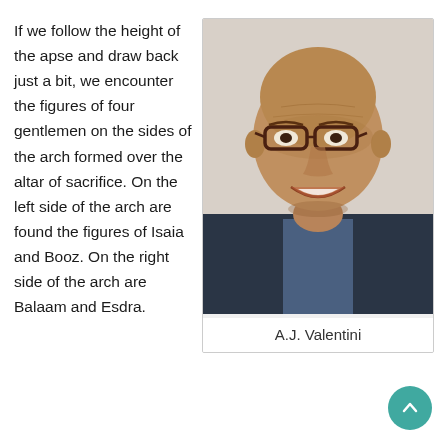If we follow the height of the apse and draw back just a bit, we encounter the figures of four gentlemen on the sides of the arch formed over the altar of sacrifice. On the left side of the arch are found the figures of Isaia and Booz. On the right side of the arch are Balaam and Esdra.
[Figure (photo): Portrait photo of A.J. Valentini, a middle-aged man wearing glasses and a dark blazer, smiling at the camera against a light background.]
A.J. Valentini